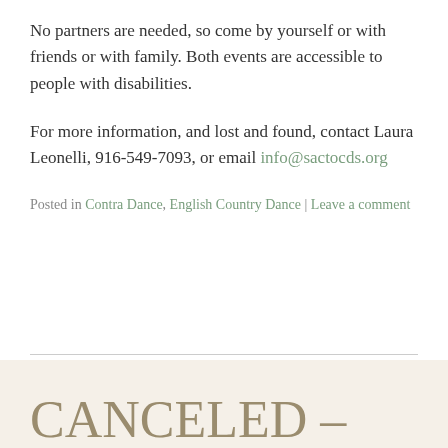No partners are needed, so come by yourself or with friends or with family. Both events are accessible to people with disabilities.
For more information, and lost and found, contact Laura Leonelli, 916-549-7093, or email info@sactocds.org
Posted in Contra Dance, English Country Dance | Leave a comment
CANCELED – July 3rd English Country